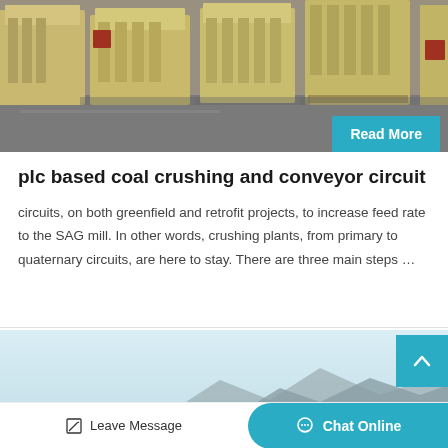[Figure (photo): Industrial jaw crushers / mining machines (yellow/beige colored heavy equipment) lined up on a concrete floor in a warehouse or factory setting]
Read More
plc based coal crushing and conveyor circuit
circuits, on both greenfield and retrofit projects, to increase feed rate to the SAG mill. In other words, crushing plants, from primary to quaternary circuits, are here to stay. There are three main steps …
[Figure (photo): Partial view of next article image showing light blue sky and mountains in background]
Leave Message
Chat Online